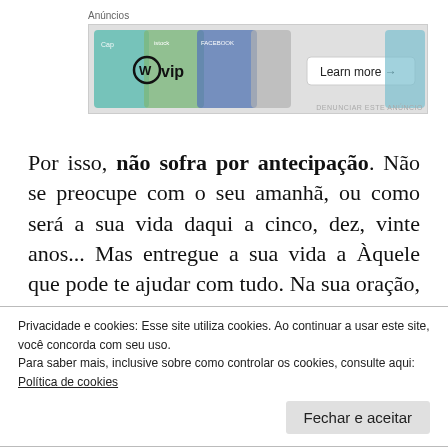Anúncios
[Figure (illustration): WordPress VIP advertisement banner with social media card visuals and 'Learn more' button]
Por isso, não sofra por antecipação. Não se preocupe com o seu amanhã, ou como será a sua vida daqui a cinco, dez, vinte anos... Mas entregue a sua vida a Àquele que pode te ajudar com tudo. Na sua oração, fale francamente, e quando você passar por alguma situação que tente te
Privacidade e cookies: Esse site utiliza cookies. Ao continuar a usar este site, você concorda com seu uso.
Para saber mais, inclusive sobre como controlar os cookies, consulte aqui: Política de cookies
Fechar e aceitar
Se você gostou desse texto, se você foi ajudado de